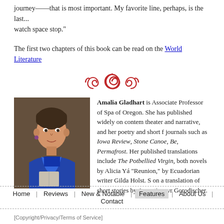journey——that is most important. My favorite line, perhaps, is the last... watch space stop."
The first two chapters of this book can be read on the World Literature...
[Figure (logo): Decorative red spiral/scroll logo]
[Figure (photo): Photo of Amalia Gladhart, a woman with short dark hair wearing a blue blazer and scarf, holding a book]
Amalia Gladhart is Associate Professor of Spanish at the University of Oregon. She has published widely on contemporary Latin American theater and narrative, and her poetry and short fiction appear in journals such as Iowa Review, Stone Canoe, Bellevue Literary Review, and Permafrost. Her published translations include A Distant Country and The Potbellied Virgin, both novels by Alicia Yánover, and a story, "Reunion," by Ecuadorian writer Gilda Holst. She is currently working on a translation of short stories by Argentine writer Angélica Gorodischer.
Home | Reviews | New & Notable | Features | About Us | Contact
[Copyright/Privacy/Terms of Service]